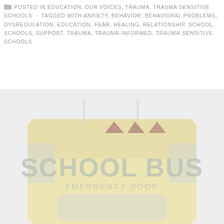POSTED IN EDUCATION, OUR VOICES, TRAUMA, TRAUMA SENSITIVE SCHOOLS · TAGGED WITH ANXIETY, BEHAVIOR, BEHAVIORAL PROBLEMS, DYSREGULATION, EDUCATION, FEAR, HEALING, RELATIONSHIP, SCHOOL, SCHOOLS, SUPPORT, TRAUMA, TRAUMA-INFORMED, TRAUMA-SENSITIVE SCHOOLS
[Figure (photo): Close-up photo of the back of a yellow school bus showing the text 'SCHOOL BUS' and 'EMERGENCY DOOR', with red warning lights on top and a window at the bottom. The image has a slightly faded, washed-out appearance.]